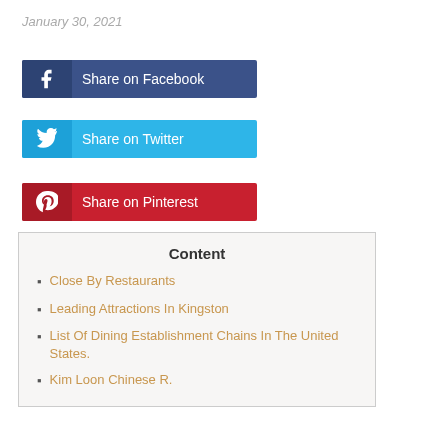January 30, 2021
[Figure (other): Share on Facebook button with Facebook icon on left]
[Figure (other): Share on Twitter button with Twitter bird icon on left]
[Figure (other): Share on Pinterest button with Pinterest icon on left]
Content
Close By Restaurants
Leading Attractions In Kingston
List Of Dining Establishment Chains In The United States.
Kim Loon Chinese R.